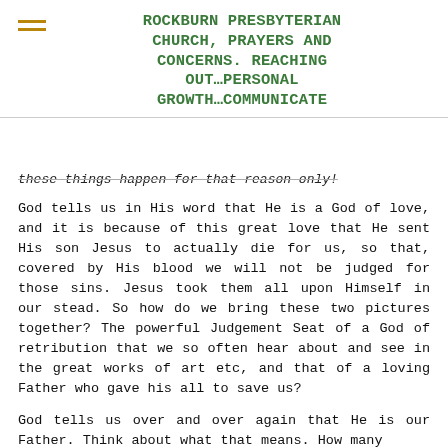ROCKBURN PRESBYTERIAN CHURCH, PRAYERS AND CONCERNS. REACHING OUT…PERSONAL GROWTH…COMMUNICATE
these things happen for that reason only!
God tells us in His word that He is a God of love, and it is because of this great love that He sent His son Jesus to actually die for us, so that, covered by His blood we will not be judged for those sins. Jesus took them all upon Himself in our stead. So how do we bring these two pictures together? The powerful Judgement Seat of a God of retribution that we so often hear about and see in the great works of art etc, and that of a loving Father who gave his all to save us?
God tells us over and over again that He is our Father. Think about what that means. How many